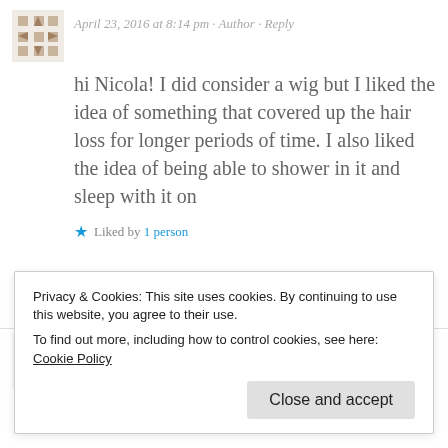April 23, 2016 at 8:14 pm · Author · Reply
hi Nicola! I did consider a wig but I liked the idea of something that covered up the hair loss for longer periods of time. I also liked the idea of being able to shower in it and sleep with it on
★ Liked by 1 person
JUDY
Privacy & Cookies: This site uses cookies. By continuing to use this website, you agree to their use.
To find out more, including how to control cookies, see here: Cookie Policy